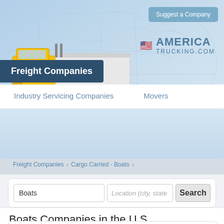[Figure (screenshot): AmericaTrucking.com website header with yellow semi-truck, US flag logo, and light blue background with faint US map outline]
Freight Companies
Suggest a Company
Industry Servicing Companies   Movers
Freight Companies  >  Cargo Carried - Boats  >
Boats
Location (city, state
Search
Boats Companies in the U.S.